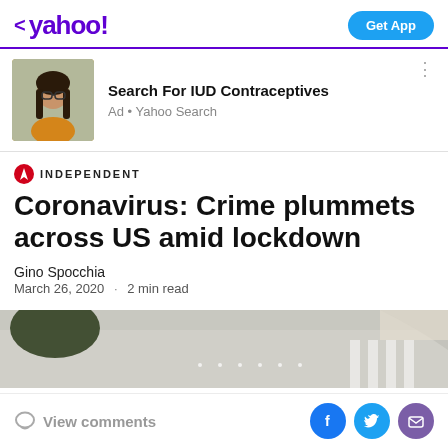< yahoo!   Get App
[Figure (advertisement): Ad banner with photo of young woman in yellow sweater. Text: Search For IUD Contraceptives. Ad • Yahoo Search]
Search For IUD Contraceptives
Ad • Yahoo Search
[Figure (logo): The Independent red logo icon with INDEPENDENT text]
Coronavirus: Crime plummets across US amid lockdown
Gino Spocchia
March 26, 2020  ·  2 min read
[Figure (photo): Aerial photo of empty street/road with crosswalk and a tree]
View comments  [Facebook] [Twitter] [Mail]